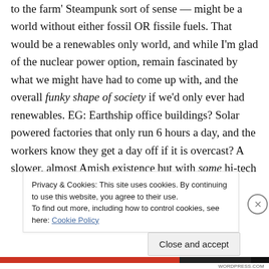to the farm' Steampunk sort of sense — might be a world without either fossil OR fissile fuels. That would be a renewables only world, and while I'm glad of the nuclear power option, remain fascinated by what we might have had to come up with, and the overall funky shape of society if we'd only ever had renewables. EG: Earthship office buildings? Solar powered factories that only run 6 hours a day, and the workers know they get a day off if it is overcast? A slower, almost Amish existence but with some hi-tech
Privacy & Cookies: This site uses cookies. By continuing to use this website, you agree to their use.
To find out more, including how to control cookies, see here: Cookie Policy
Close and accept